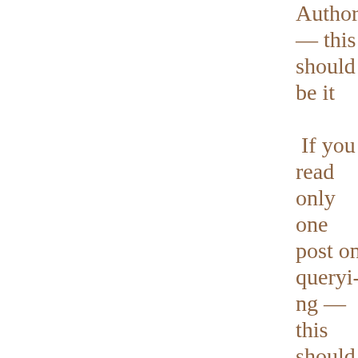Author — this should be it  If you read only one post on querying — this should be it  New Year's resolutions on writing